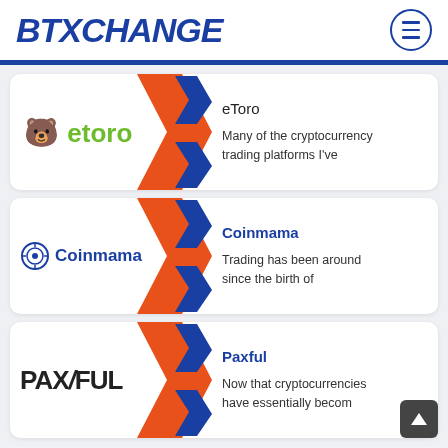BTXCHANGE
[Figure (infographic): eToro card with logo and chevron arrows, title 'eToro', description 'Many of the cryptocurrency trading platforms I've']
[Figure (infographic): Coinmama card with logo and chevron arrows, title 'Coinmama', description 'Trading has been around since the birth of']
[Figure (infographic): Paxful card with logo and chevron arrows, title 'Paxful', description 'Now that cryptocurrencies have essentially becom']